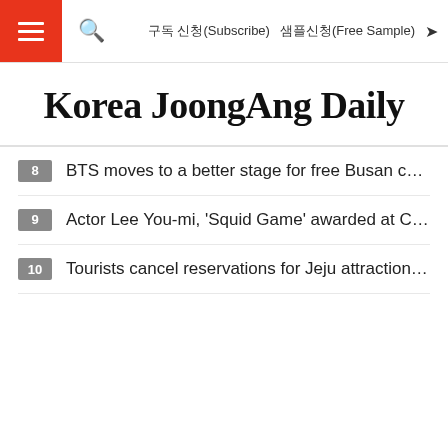구독 신청(Subscribe)   샘플신청(Free Sample)
Korea JoongAng Daily
8  BTS moves to a better stage for free Busan con…
9  Actor Lee You-mi, 'Squid Game' awarded at Cre…
10  Tourists cancel reservations for Jeju attraction…